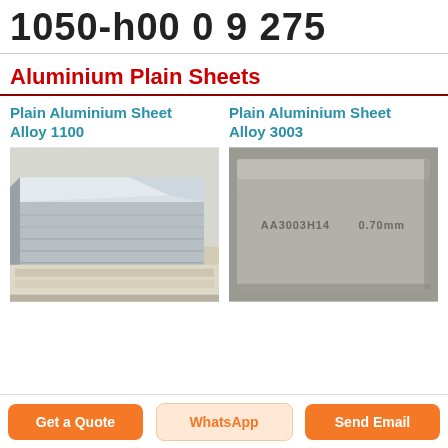1050-h00 0 9 275
Aluminium Plain Sheets
Plain Aluminium Sheet Alloy 1100
[Figure (photo): Stacked aluminium plain sheets wrapped in white protective material, showing shiny metallic surface]
Plain Aluminium Sheet Alloy 3003
[Figure (photo): Grey aluminium plain sheet with text stamped on surface reading AA3003H14 0.70mm]
Get a Quote | WhatsApp | Send Email